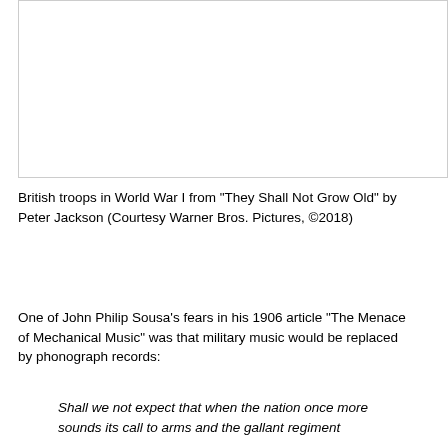[Figure (photo): A blank/white rectangular image placeholder representing British troops in World War I from the film 'They Shall Not Grow Old']
British troops in World War I from "They Shall Not Grow Old" by Peter Jackson (Courtesy Warner Bros. Pictures, ©2018)
One of John Philip Sousa's fears in his 1906 article "The Menace of Mechanical Music" was that military music would be replaced by phonograph records:
Shall we not expect that when the nation once more sounds its call to arms and the gallant regiment